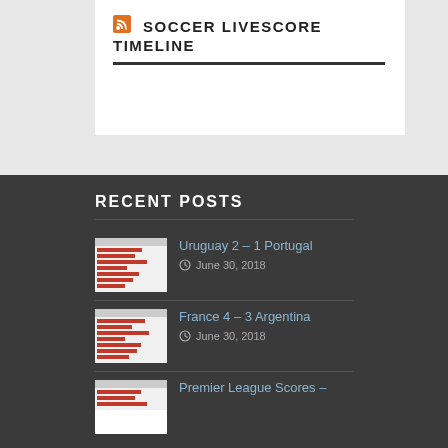SOCCER LIVESCORE TIMELINE
RECENT POSTS
Uruguay 2 – 1 Portugal
June 30, 2018
France 4 – 3 Argentina
June 30, 2018
Premier League Scores –